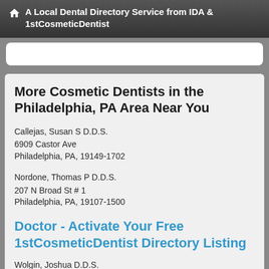A Local Dental Directory Service from IDA & 1stCosmeticDentist
More Cosmetic Dentists in the Philadelphia, PA Area Near You
Callejas, Susan S D.D.S.
6909 Castor Ave
Philadelphia, PA, 19149-1702
Nordone, Thomas P D.D.S.
207 N Broad St # 1
Philadelphia, PA, 19107-1500
Doctor - Activate Your Free 1stCosmeticDentist Directory Listing
Wolgin, Joshua D.D.S.
255 S 17th St # 1806
Philadelphia, PA, 19103-6218